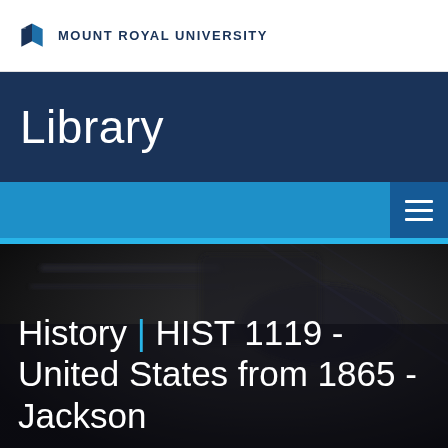MOUNT ROYAL UNIVERSITY
Library
[Figure (screenshot): Navigation bar with hamburger menu icon on blue background]
[Figure (photo): Dark blurred background photo of historical items with overlay text reading: History | HIST 1119 - United States from 1865 - Jackson]